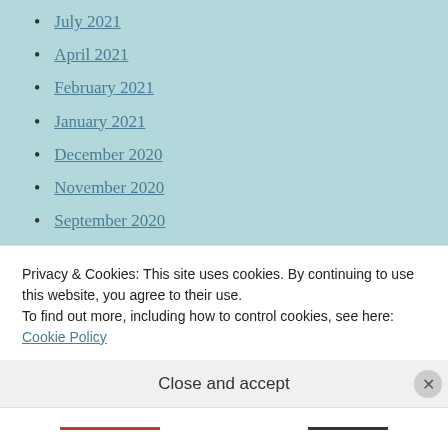July 2021
April 2021
February 2021
January 2021
December 2020
November 2020
September 2020
August 2020
July 2020
June 2020
May 2020
Privacy & Cookies: This site uses cookies. By continuing to use this website, you agree to their use.
To find out more, including how to control cookies, see here: Cookie Policy
Close and accept